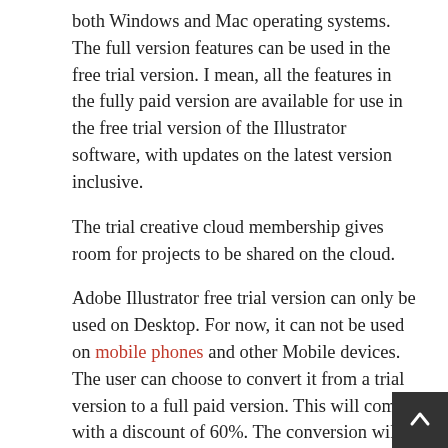both Windows and Mac operating systems. The full version features can be used in the free trial version. I mean, all the features in the fully paid version are available for use in the free trial version of the Illustrator software, with updates on the latest version inclusive.
The trial creative cloud membership gives room for projects to be shared on the cloud.
Adobe Illustrator free trial version can only be used on Desktop. For now, it can not be used on mobile phones and other Mobile devices. The user can choose to convert it from a trial version to a full paid version. This will come with a discount of 60%. The conversion will allow you to join the paid creative cloud membership. You can do the upgrading to fully paid version during the trial period.
Related: Download Adobe InDesign Free Trial Version